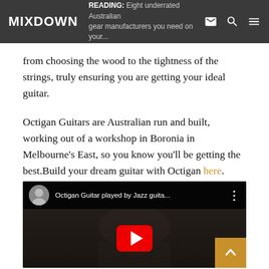MIXDOWN | READING: Eight underrated Australian gear manufacturers you need on your...
from choosing the wood to the tightness of the strings, truly ensuring you are getting your ideal guitar.
Octigan Guitars are Australian run and built, working out of a workshop in Boronia in Melbourne's East, so you know you'll be getting the best.Build your dream guitar with Octigan here.
[Figure (screenshot): Embedded YouTube video thumbnail showing 'Octigan Guitar played by Jazz guita...' with a play button and back-to-top arrow button]